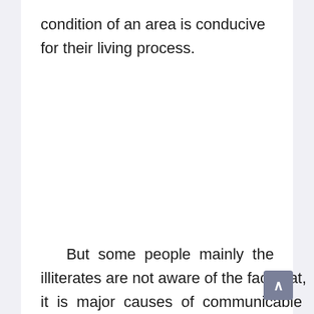condition of an area is conducive for their living process.
But some people mainly the illiterates are not aware of the fact that, it is major causes of communicable